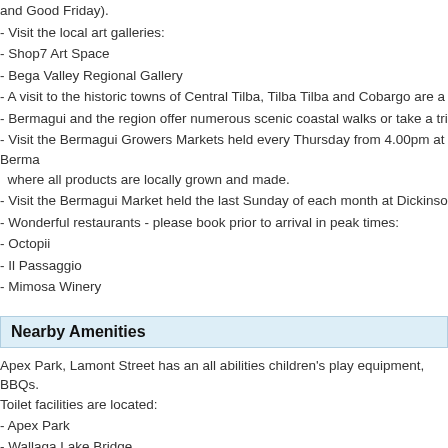and Good Friday).
- Visit the local art galleries:
- Shop7 Art Space
- Bega Valley Regional Gallery
- A visit to the historic towns of Central Tilba, Tilba Tilba and Cobargo are a must.
- Bermagui and the region offer numerous scenic coastal walks or take a trip to ou
- Visit the Bermagui Growers Markets held every Thursday from 4.00pm at Berma where all products are locally grown and made.
- Visit the Bermagui Market held the last Sunday of each month at Dickinson Park
- Wonderful restaurants - please book prior to arrival in peak times:
- Octopii
- Il Passaggio
- Mimosa Winery
Nearby Amenities
Apex Park, Lamont Street has an all abilities children's play equipment, BBQs. Toilet facilities are located:
- Apex Park
- Wallaga Lake Bridge
- Camel Rock
- Beauty Point boat ramp
- South River Road boat ramp
- Bermagui Fishermen's Wharf
- Main boat ramp
- behind Bermagui Surf Club
- Bermagui Visitor Information Centre